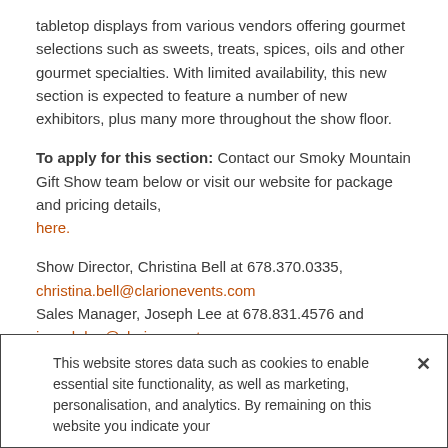tabletop displays from various vendors offering gourmet selections such as sweets, treats, spices, oils and other gourmet specialties. With limited availability, this new section is expected to feature a number of new exhibitors, plus many more throughout the show floor.
To apply for this section: Contact our Smoky Mountain Gift Show team below or visit our website for package and pricing details, here.
Show Director, Christina Bell at 678.370.0335, christina.bell@clarionevents.com
Sales Manager, Joseph Lee at 678.831.4576 and joseph.lee@clarionevents.com
Flavors of the South headlines a full series of additional product highlights and buyer services, including:
This website stores data such as cookies to enable essential site functionality, as well as marketing, personalisation, and analytics. By remaining on this website you indicate your